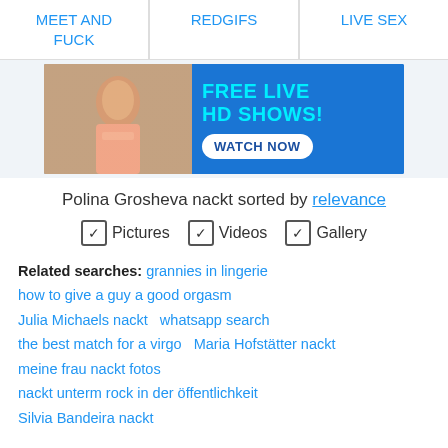MEET AND FUCK | REDGIFS | LIVE SEX
[Figure (photo): Advertisement banner with photo of woman and text FREE LIVE HD SHOWS! WATCH NOW]
Polina Grosheva nackt sorted by relevance
✓ Pictures  ✓ Videos  ✓ Gallery
Related searches: grannies in lingerie how to give a guy a good orgasm Julia Michaels nackt whatsapp search the best match for a virgo Maria Hofstätter nackt meine frau nackt fotos nackt unterm rock in der öffentlichkeit Silvia Bandeira nackt